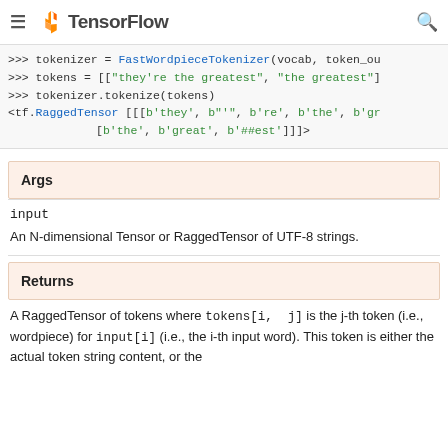≡ TensorFlow 🔍
[Figure (screenshot): Code block showing Python TensorFlow tokenizer example with FastWordpieceTokenizer, tokens, and RaggedTensor output]
Args
input
An N-dimensional Tensor or RaggedTensor of UTF-8 strings.
Returns
A RaggedTensor of tokens where tokens[i, j] is the j-th token (i.e., wordpiece) for input[i] (i.e., the i-th input word). This token is either the actual token string content, or the